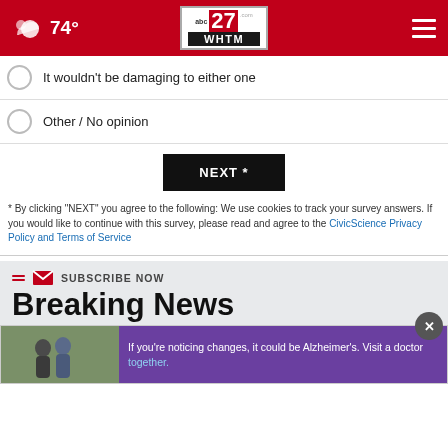abc27 WHTM — 74°
It wouldn't be damaging to either one
Other / No opinion
NEXT *
* By clicking "NEXT" you agree to the following: We use cookies to track your survey answers. If you would like to continue with this survey, please read and agree to the CivicScience Privacy Policy and Terms of Service
SUBSCRIBE NOW
Breaking News
[Figure (photo): Advertisement: two men outdoors with text 'If you're noticing changes, it could be Alzheimer's. Visit a doctor together.']